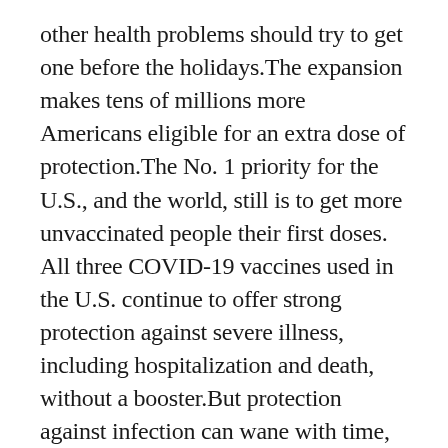other health problems should try to get one before the holidays.The expansion makes tens of millions more Americans eligible for an extra dose of protection.The No. 1 priority for the U.S., and the world, still is to get more unvaccinated people their first doses. All three COVID-19 vaccines used in the U.S. continue to offer strong protection against severe illness, including hospitalization and death, without a booster.But protection against infection can wane with time, and the U.S. and many countries in Europe also are grappling with how widely to recommend boosters as they fight a winter wave of new cases. In the U.S., COVID-19 diagnoses have climbed steadily over the last three weeks, especially in states where colder weather already has driven people indoors.And about a dozen states didn't wait for federal officials to act before opening boosters to